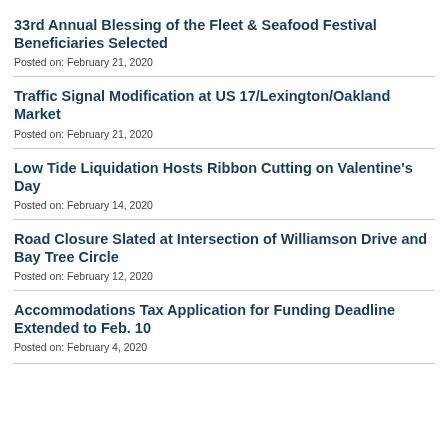33rd Annual Blessing of the Fleet & Seafood Festival Beneficiaries Selected
Posted on: February 21, 2020
Traffic Signal Modification at US 17/Lexington/Oakland Market
Posted on: February 21, 2020
Low Tide Liquidation Hosts Ribbon Cutting on Valentine's Day
Posted on: February 14, 2020
Road Closure Slated at Intersection of Williamson Drive and Bay Tree Circle
Posted on: February 12, 2020
Accommodations Tax Application for Funding Deadline Extended to Feb. 10
Posted on: February 4, 2020